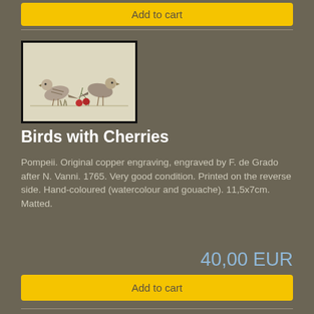Add to cart
[Figure (illustration): Birds with Cherries — two birds perched near red cherries, hand-coloured engraving, light background]
Birds with Cherries
Pompeii. Original copper engraving, engraved by F. de Grado after N. Vanni. 1765. Very good condition. Printed on the reverse side. Hand-coloured (watercolour and gouache). 11,5x7cm. Matted.
40,00 EUR
Add to cart
[Figure (photo): Dark circular/ring-shaped object on black background — partial view at bottom of page]